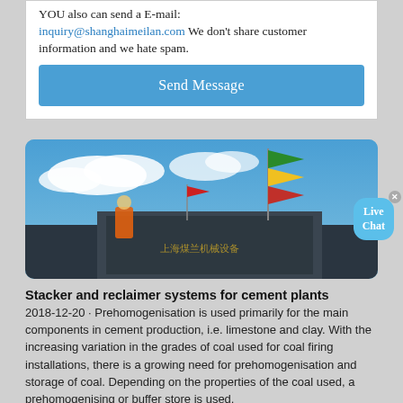YOU also can send a E-mail: inquiry@shanghaimeilan.com We don't share customer information and we hate spam.
Send Message
[Figure (photo): Industrial stacker/reclaimer equipment outdoors under blue sky with clouds; colorful flags on a mast; orange-clad worker visible; Chinese text on dark metal surface.]
Live Chat
Stacker and reclaimer systems for cement plants
2018-12-20 · Prehomogenisation is used primarily for the main components in cement production, i.e. limestone and clay. With the increasing variation in the grades of coal used for coal firing installations, there is a growing need for prehomogenisation and storage of coal. Depending on the properties of the coal used, a prehomogenising or buffer store is used.
PID Theory Explained
2020-3-17 · As the name suggests, PID algorithm consists of three basic coefficients: proportional, integral and derivative